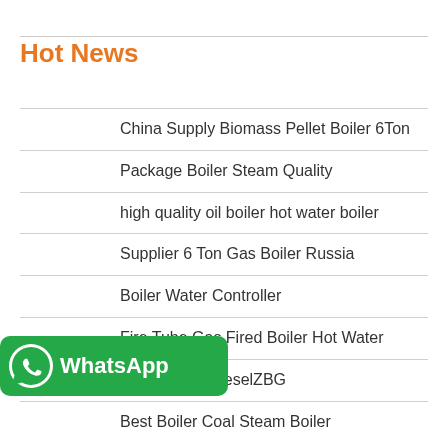Hot News
China Supply Biomass Pellet Boiler 6Ton
Package Boiler Steam Quality
high quality oil boiler hot water boiler
Supplier 6 Ton Gas Boiler Russia
Boiler Water Controller
Fire Tube Gas Fired Boiler Hot Water
Boiler 5 Ton DieselZBG
Best Boiler Coal Steam Boiler
[Figure (logo): WhatsApp button badge with green background, WhatsApp logo icon and text WhatsApp]